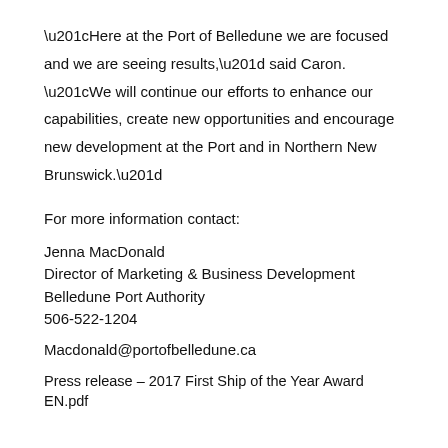“Here at the Port of Belledune we are focused and we are seeing results,” said Caron. “We will continue our efforts to enhance our capabilities, create new opportunities and encourage new development at the Port and in Northern New Brunswick.”
For more information contact:
Jenna MacDonald
Director of Marketing & Business Development
Belledune Port Authority
506-522-1204
Macdonald@portofbelledune.ca
Press release – 2017 First Ship of the Year Award EN.pdf